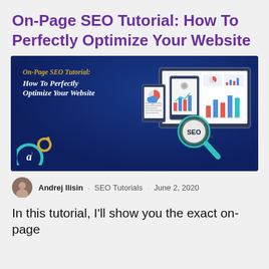On-Page SEO Tutorial: How To Perfectly Optimize Your Website
[Figure (illustration): Dark blue banner image showing 'On-Page SEO Tutorial: How To Perfectly Optimize Your Website' text on the left in gold and white italic, decorative teal and gold circles bottom-left with an 'a' logo, and on the right a monitor displaying analytics dashboards with a magnifying glass overlay labeled 'SEO'.]
Andrej Ilisin   SEO Tutorials   June 2, 2020
In this tutorial, I'll show you the exact on-page